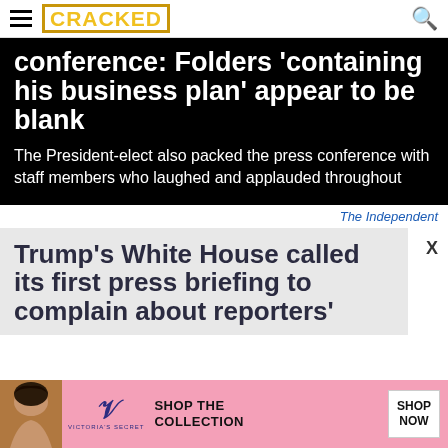CRACKED
[Figure (screenshot): News headline image on black background: 'conference: Folders containing his business plan appear to be blank. The President-elect also packed the press conference with staff members who laughed and applauded throughout']
The Independent
Trump's White House called its first press briefing to complain about reporters'
[Figure (photo): Victoria's Secret advertisement banner with woman's photo, VS logo, 'SHOP THE COLLECTION' text and 'SHOP NOW' button]